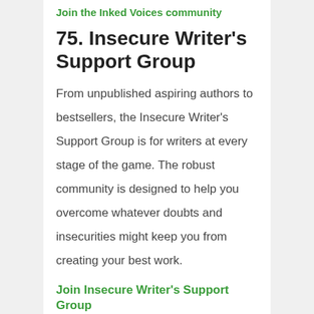Join the Inked Voices community
75. Insecure Writer's Support Group
From unpublished aspiring authors to bestsellers, the Insecure Writer's Support Group is for writers at every stage of the game. The robust community is designed to help you overcome whatever doubts and insecurities might keep you from creating your best work.
Join Insecure Writer's Support Group
76. NaNoWriMo
Yes, this is the annual event all the writers you know participate in every